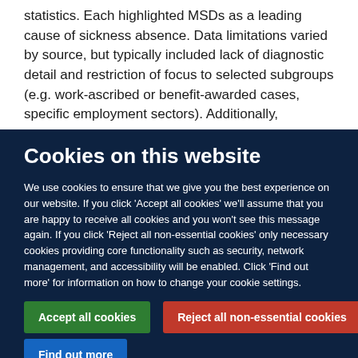statistics. Each highlighted MSDs as a leading cause of sickness absence. Data limitations varied by source, but typically included lack of diagnostic detail and restriction of focus to selected subgroups (e.g. work-ascribed or benefit-awarded cases, specific employment sectors). Additionally,
Cookies on this website
We use cookies to ensure that we give you the best experience on our website. If you click 'Accept all cookies' we'll assume that you are happy to receive all cookies and you won't see this message again. If you click 'Reject all non-essential cookies' only necessary cookies providing core functionality such as security, network management, and accessibility will be enabled. Click 'Find out more' for information on how to change your cookie settings.
Accept all cookies
Reject all non-essential cookies
Find out more